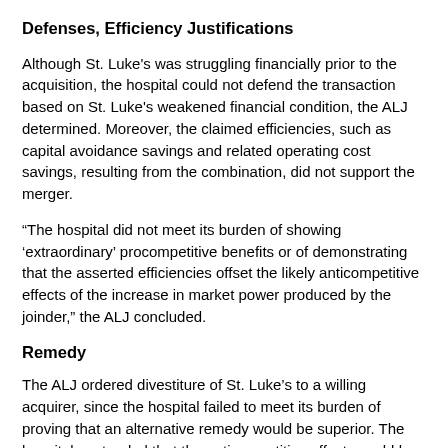Defenses, Efficiency Justifications
Although St. Luke's was struggling financially prior to the acquisition, the hospital could not defend the transaction based on St. Luke's weakened financial condition, the ALJ determined. Moreover, the claimed efficiencies, such as capital avoidance savings and related operating cost savings, resulting from the combination, did not support the merger.
“The hospital did not meet its burden of showing ‘extraordinary’ procompetitive benefits or of demonstrating that the asserted efficiencies offset the likely anticompetitive effects of the increase in market power produced by the joinder,” the ALJ concluded.
Remedy
The ALJ ordered divestiture of St. Luke’s to a willing acquirer, since the hospital failed to meet its burden of proving that an alternative remedy would be superior. The hospital contended that the anticompetitive effects could be remedied